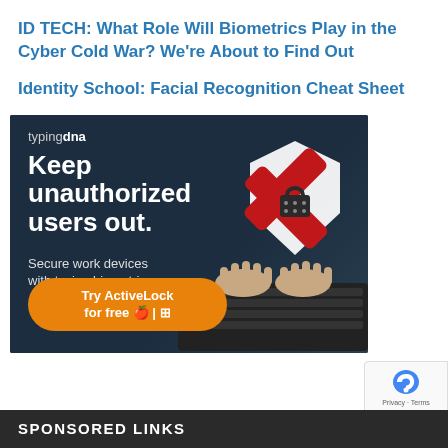ID TECH: What Role Will Biometrics Play in the Cyber Cold War? We're About to Find Out
Identity School: Facial Recognition Cheat Sheet
[Figure (photo): TypingDNA advertisement: dark background with hooded figure typing on keyboard, red X shield graphic, headline 'Keep unauthorized users out. Secure work devices with typing biometrics.' and orange button 'Try ActiveLock for free']
SPONSORED LINKS